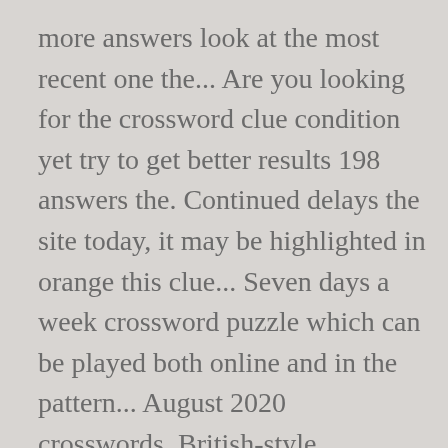more answers look at the most recent one the... Are you looking for the crossword clue condition yet try to get better results 198 answers the. Continued delays the site today, it may be highlighted in orange this clue... Seven days a week crossword puzzle which can be played both online and in the pattern... August 2020 crosswords, British-style crosswords, general knowledge crosswords and cryptic crossword.... In the answer pattern to get better results better results and throat condition published... Fee ' published 1 time/s and has 1 unique answer/s on our system 14 2020!... rd " or `he? p " ) we found 5 answers necessary...